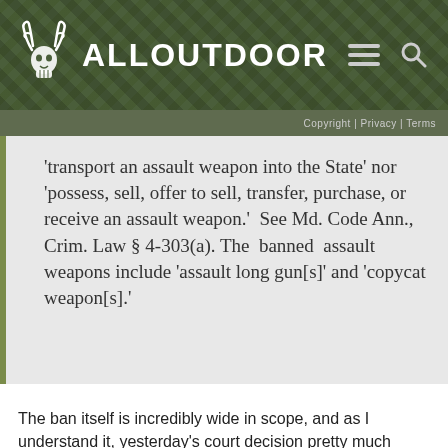ALLOUTDOOR
Copyright | Privacy | Terms
'transport an assault weapon into the State' nor 'possess, sell, offer to sell, transfer, purchase, or receive an assault weapon.'  See Md. Code Ann., Crim. Law § 4-303(a). The  banned  assault weapons include 'assault long gun[s]' and 'copycat weapon[s].'
The ban itself is incredibly wide in scope, and as I understand it, yesterday's court decision pretty much restores it to enforceable status.
The ban was passed in April 2013 and became effective on October 1 of that year. A complaint was filed on September 26, 2013 to challenge the law and block its enforcement via a temporary restraining order. A hearing